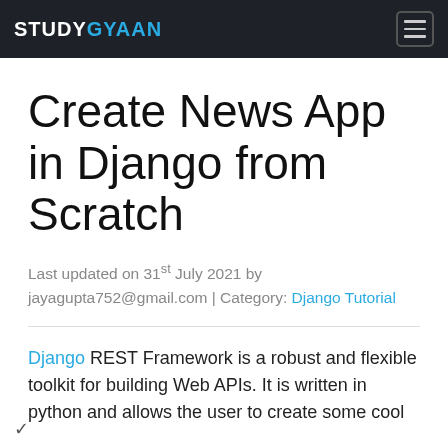STUDYGYAAN
Create News App in Django from Scratch
Last updated on 31st July 2021 by jayagupta752@gmail.com | Category: Django Tutorial
Django REST Framework is a robust and flexible toolkit for building Web APIs. It is written in python and allows the user to create some cool